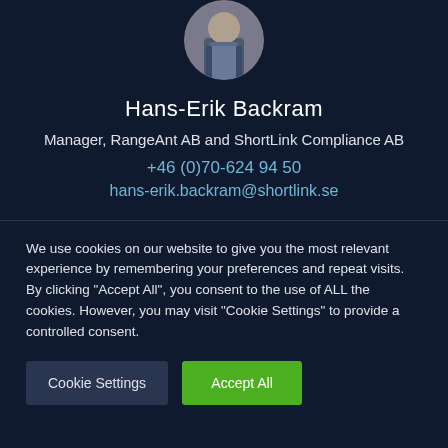[Figure (photo): Circular profile photo of Hans-Erik Backram, a man in a suit jacket]
Hans-Erik Backram
Manager, RangeAnt AB and ShortLink Compliance AB
+46 (0)70-624 94 50
hans-erik.backram@shortlink.se
We use cookies on our website to give you the most relevant experience by remembering your preferences and repeat visits. By clicking "Accept All", you consent to the use of ALL the cookies. However, you may visit "Cookie Settings" to provide a controlled consent.
Cookie Settings
Accept All